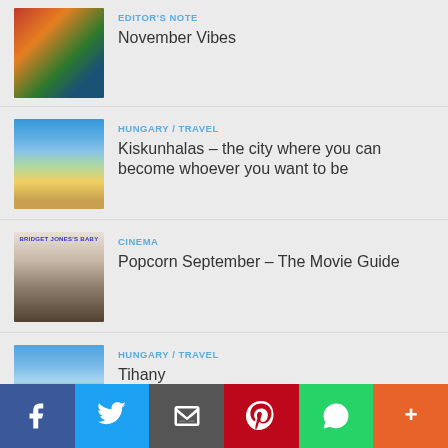[Figure (photo): Autumn trees with orange/red foliage]
EDITOR'S NOTE
November Vibes
[Figure (photo): Street with blooming trees in Kiskunhalas]
HUNGARY / TRAVEL
Kiskunhalas – the city where you can become whoever you want to be
[Figure (photo): Bridget Jones's Baby movie poster]
CINEMA
Popcorn September – The Movie Guide
[Figure (photo): Tihany landscape with play button overlay]
HUNGARY / TRAVEL
Tihany